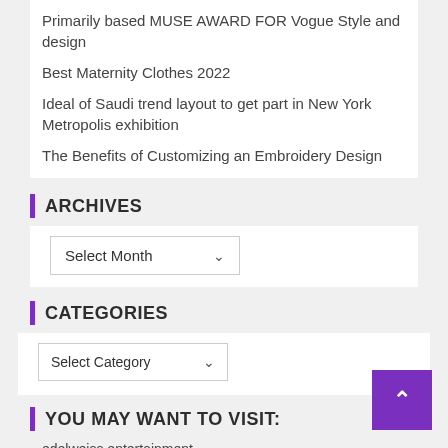Primarily based MUSE AWARD FOR Vogue Style and design
Best Maternity Clothes 2022
Ideal of Saudi trend layout to get part in New York Metropolis exhibition
The Benefits of Customizing an Embroidery Design
ARCHIVES
Select Month
CATEGORIES
Select Category
YOU MAY WANT TO VISIT:
edelweiss entertainment